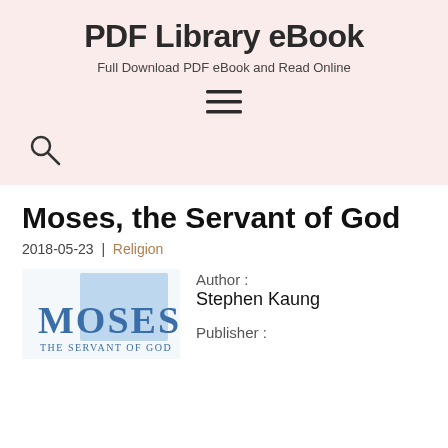PDF Library eBook
Full Download PDF eBook and Read Online
[Figure (other): Hamburger menu icon with three horizontal lines]
[Figure (other): Search (magnifying glass) icon]
Moses, the Servant of God
2018-05-23 | Religion
[Figure (illustration): Book cover of 'Moses the Servant of God' by Stephen Kaung, showing the word MOSES in large blue letters and 'THE SERVANT OF GOD' below, with a light blue square in the background]
Author :
Stephen Kaung
Publisher :